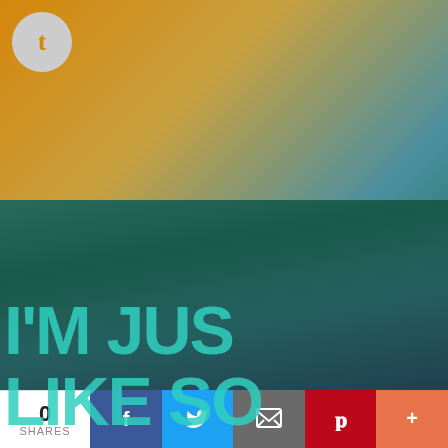[Figure (screenshot): Screenshot of a mobile screen showing a Snapchat push notification (Ad, Messages, now, (7) Snapchat, (7) Pending Snaps), a dialog box saying 'Click OK To Continue' with an OK button, a colorful background with teal large text 'I'M JUST LIKE SO HAPPY TO', and a social share bar at the bottom with 0 SHARES, Facebook, Twitter, Email, Pinterest, and More buttons.]